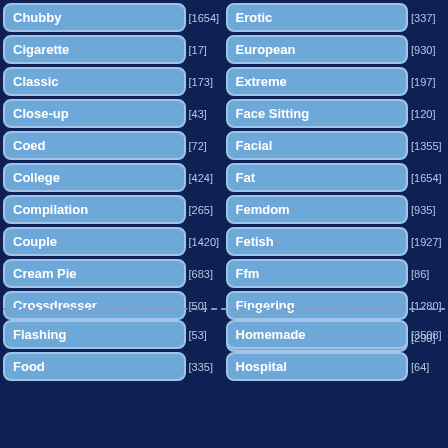Chubby [1654]
Erotic [337]
Cigarette [17]
European [930]
Classic [173]
Extreme [197]
Close-up [43]
Face Sitting [120]
Coed [72]
Facial [1355]
College [424]
Fat [1654]
Compilation [265]
Femdom [935]
Couple [1420]
Fetish [1927]
Cream Pie [683]
Ffm [86]
Crossdresser [50]
Fingering [1280]
Fisting [290]
Flashing [53]
Homemade [3508]
Food [335]
Hospital [64]